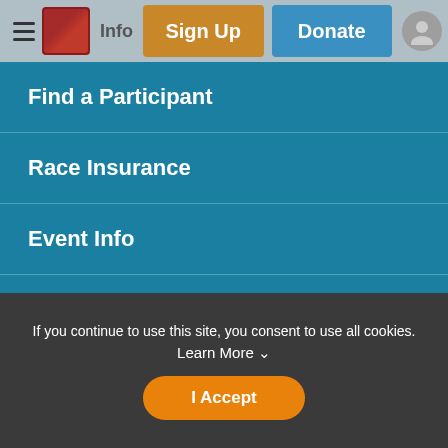Race Info | Sign Up | Donate
Find a Participant
Race Insurance
Event Info
Donate
Sign Up
Refund Policy
If you continue to use this site, you consent to use all cookies. Learn More
I Accept